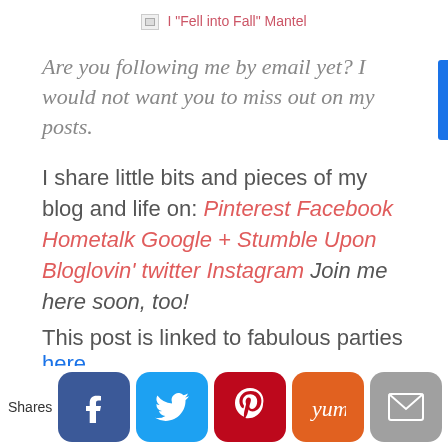I "Fell into Fall" Mantel
Are you following me by email yet? I would not want you to miss out on my posts.
I share little bits and pieces of my blog and life on: Pinterest Facebook Hometalk Google + Stumble Upon Bloglovin' twitter Instagram  Join me here soon, too!
This post is linked to fabulous parties here.
[Figure (infographic): Social share buttons bar at bottom: Facebook (dark blue), Twitter (light blue), Pinterest (red), Yummly (orange), Email (gray), Crown/other (dark blue)]